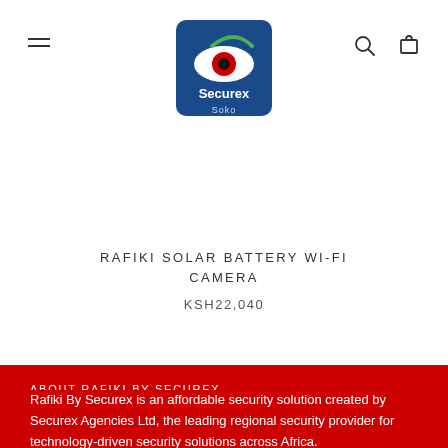Securex Soko — navigation header with logo, hamburger menu, search and cart icons
RAFIKI SOLAR BATTERY WI-FI CAMERA
KSH22,040
ABOUT RAFIKI BY SECUREX
Rafiki By Securex is an affordable security solution created by Securex Agencies Ltd, the leading regional security provider for technology-driven security solutions across Africa.

Securex is a Kenyan company with 50 years of experience in the provision of bespoke security solutions.